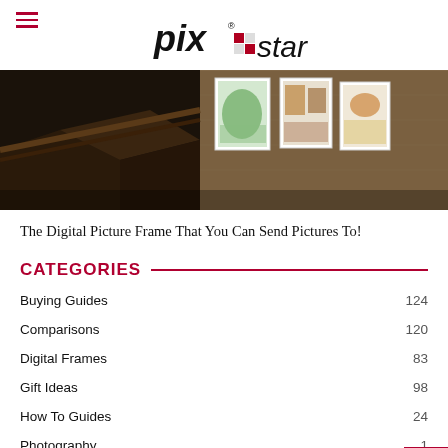pix star
[Figure (photo): Interior hallway with staircase and framed pictures on a concrete wall]
The Digital Picture Frame That You Can Send Pictures To!
CATEGORIES
Buying Guides 124
Comparisons 120
Digital Frames 83
Gift Ideas 98
How To Guides 24
Photography 1
Smart Homes